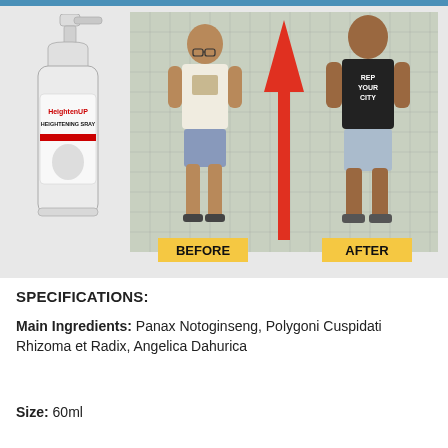[Figure (photo): Product advertisement showing HeightenUP Heightening Spray bottle on the left and a before/after photo comparison of a man on the right, with a large red upward arrow between them. Yellow labels read BEFORE and AFTER.]
SPECIFICATIONS:
Main Ingredients: Panax Notoginseng, Polygoni Cuspidati Rhizoma et Radix, Angelica Dahurica
Size: 60ml